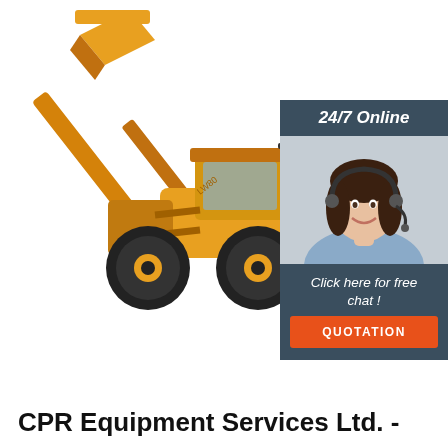[Figure (photo): Orange wheel loader / front-end loader construction equipment on white background, shown at an angle with bucket raised]
[Figure (infographic): 24/7 Online chat widget showing a smiling woman with a headset, with 'Click here for free chat!' text and an orange QUOTATION button, on a dark blue-grey background]
CPR Equipment Services Ltd. -